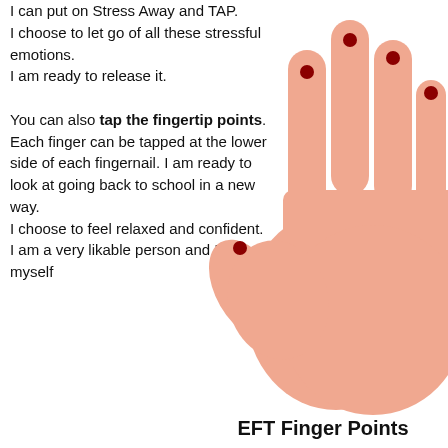I can put on Stress Away and TAP.
I choose to let go of all these stressful emotions.
I am ready to release it.

You can also tap the fingertip points. Each finger can be tapped at the lower side of each fingernail. I am ready to look at going back to school in a new way.
I choose to feel relaxed and confident.
I am a very likable person and I like myself
[Figure (illustration): Illustration of an open right hand (palm facing viewer) with red dots on the fingertips of each finger and thumb, showing EFT tapping points on the fingernails.]
EFT Finger Points